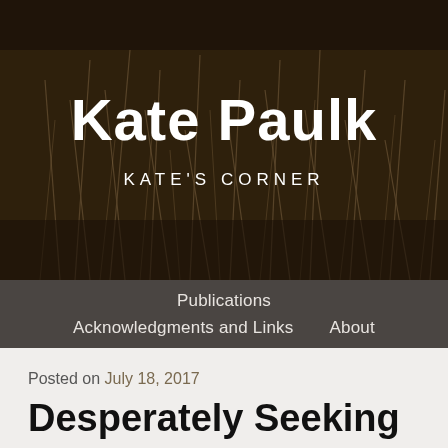[Figure (photo): Sepia-toned hero banner with dry grass/reeds in the background, dark brown overlay]
Kate Paulk
KATE'S CORNER
Publications
Acknowledgments and Links   About
Posted on July 18, 2017
Desperately Seeking